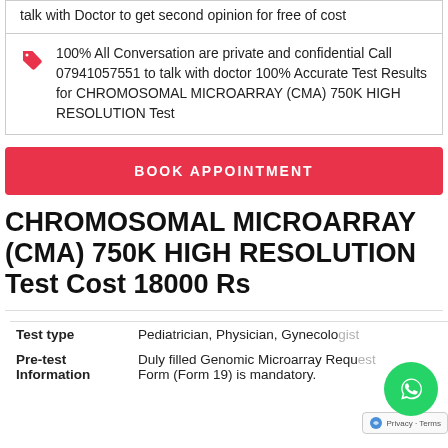talk with Doctor to get second opinion for free of cost
100% All Conversation are private and confidential Call 07941057551 to talk with doctor 100% Accurate Test Results for CHROMOSOMAL MICROARRAY (CMA) 750K HIGH RESOLUTION Test
BOOK APPOINTMENT
CHROMOSOMAL MICROARRAY (CMA) 750K HIGH RESOLUTION Test Cost 18000 Rs
| Field | Value |
| --- | --- |
| Test type | Pediatrician, Physician, Gynecologist |
| Pre-test Information | Duly filled Genomic Microarray Request Form (Form 19) is mandatory. |